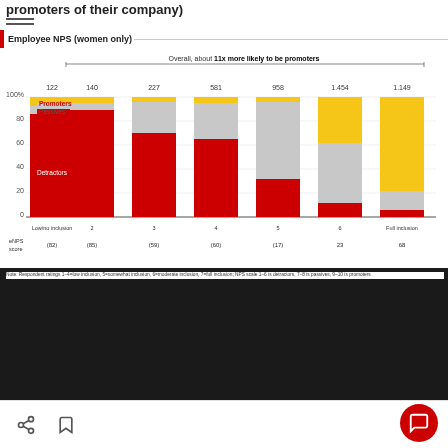promoters of their company
Employee NPS (women only)
[Figure (stacked-bar-chart): Employee NPS (women only)]
Note: Respondent ratings 1–4=low inclusion, 5=somewhat inclusion, 6=moderate inclusion, 7=full inclusion; NPS scale 1–6 is detractors, 7–8 is passives, 9–10 is promoters
We use cookies to improve functionality and performance of this site. By continuing to browse this site, you consent to the use of cookies.
ACCEPT ALL COOKIES